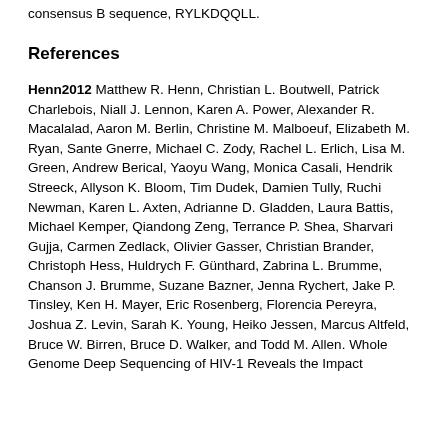consensus B sequence, RYLKDQQLL.
References
Henn2012 Matthew R. Henn, Christian L. Boutwell, Patrick Charlebois, Niall J. Lennon, Karen A. Power, Alexander R. Macalalad, Aaron M. Berlin, Christine M. Malboeuf, Elizabeth M. Ryan, Sante Gnerre, Michael C. Zody, Rachel L. Erlich, Lisa M. Green, Andrew Berical, Yaoyu Wang, Monica Casali, Hendrik Streeck, Allyson K. Bloom, Tim Dudek, Damien Tully, Ruchi Newman, Karen L. Axten, Adrianne D. Gladden, Laura Battis, Michael Kemper, Qiandong Zeng, Terrance P. Shea, Sharvari Gujja, Carmen Zedlack, Olivier Gasser, Christian Brander, Christoph Hess, Huldrych F. Günthard, Zabrina L. Brumme, Chanson J. Brumme, Suzane Bazner, Jenna Rychert, Jake P. Tinsley, Ken H. Mayer, Eric Rosenberg, Florencia Pereyra, Joshua Z. Levin, Sarah K. Young, Heiko Jessen, Marcus Altfeld, Bruce W. Birren, Bruce D. Walker, and Todd M. Allen. Whole Genome Deep Sequencing of HIV-1 Reveals the Impact